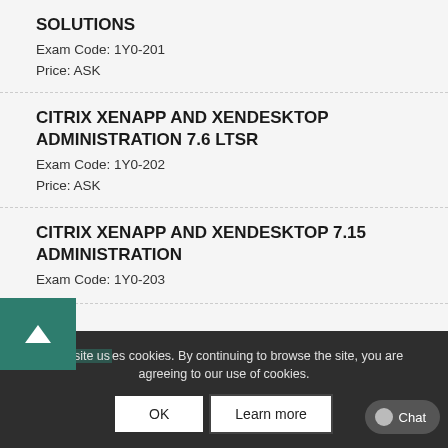SOLUTIONS
Exam Code: 1Y0-201
Price: ASK
CITRIX XENAPP AND XENDESKTOP ADMINISTRATION 7.6 LTSR
Exam Code: 1Y0-202
Price: ASK
CITRIX XENAPP AND XENDESKTOP 7.15 ADMINISTRATION
Exam Code: 1Y0-203
CITRIX NETS... ESSENTIALS AND UNIFIED... (partial)
This site uses cookies. By continuing to browse the site, you are agreeing to our use of cookies.